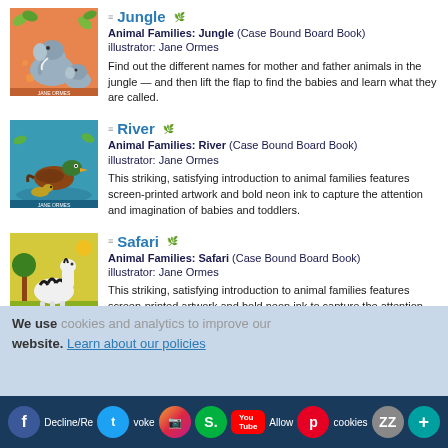[Figure (illustration): Book cover for Animal Families: Jungle — orange background with illustrated jungle animals including elephants]
Animal Families: Jungle (Case Bound Board Book) illustrator: Jane Ormes

Find out the different names for mother and father animals in the jungle — and then lift the flap to find the babies and learn what they are called.
[Figure (illustration): Book cover for Animal Families: River — teal background with illustrated river animals including a duck]
Animal Families: River (Case Bound Board Book) illustrator: Jane Ormes

This striking, satisfying introduction to animal families features screen-printed artwork and bold neon ink to capture the attention and imagination of babies and toddlers.
[Figure (illustration): Book cover for Animal Families: Safari — yellow-green background with illustrated safari animals including zebras]
Animal Families: Safari (Case Bound Board Book) illustrator: Jane Ormes

This striking, satisfying introduction to animal families features screen-printed artwork and bold neon ink to capture the attention and imagination of babies and toddlers.
We use cookies and analytics to improve our website. Learn about our policies
Decline/Revoke  S.  You  Allow cookies  +